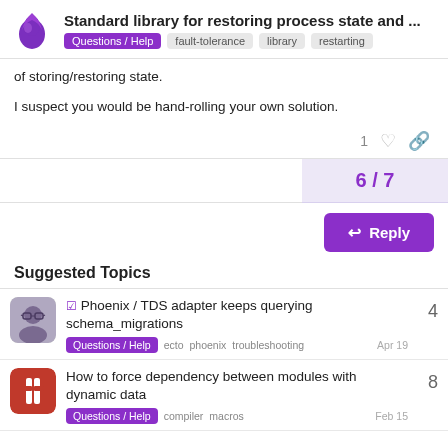Standard library for restoring process state and ... | Questions / Help | fault-tolerance | library | restarting
of storing/restoring state.
I suspect you would be hand-rolling your own solution.
6 / 7
Suggested Topics
Phoenix / TDS adapter keeps querying schema_migrations | Questions / Help | ecto | phoenix | troubleshooting | Apr 19 | 4
How to force dependency between modules with dynamic data | Questions / Help | compiler | macros | Feb 15 | 8